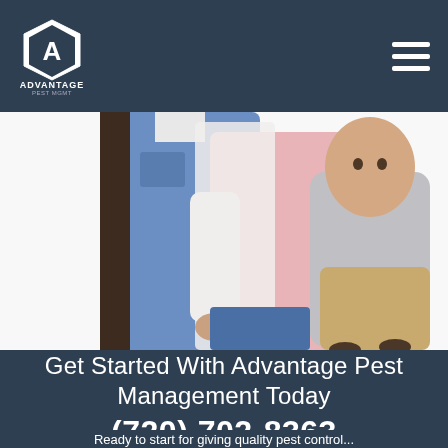Advantage Pest Management - Navigation bar with logo and hamburger menu
[Figure (photo): A family of three — a man in a blue denim shirt, a woman in a pink top, and a baby in a gray hoodie held by the woman — photographed from chest down on a white background.]
Get Started With Advantage Pest Management Today
(720) 702-8363
Ready to start for giving quality pest control